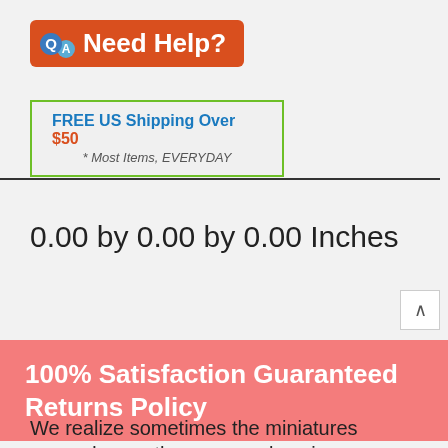[Figure (logo): Need Help? Q&A banner with red/orange background and speech bubble icons]
[Figure (infographic): FREE US Shipping Over $50 * Most Items, EVERYDAY — green-bordered box]
0.00 by 0.00 by 0.00 Inches
100% Satisfaction Guaranteed Returns Policy
We realize sometimes the miniatures you order are the wrong color, size or